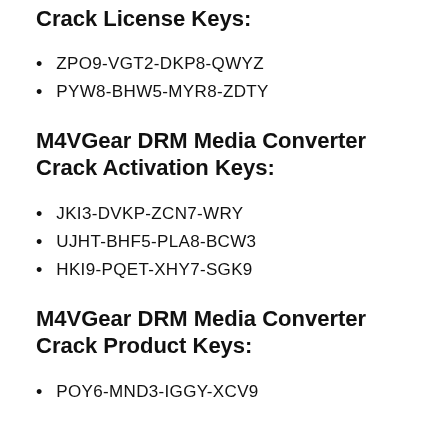Crack License Keys:
ZPO9-VGT2-DKP8-QWYZ
PYW8-BHW5-MYR8-ZDTY
M4VGear DRM Media Converter Crack Activation Keys:
JKI3-DVKP-ZCN7-WRY
UJHT-BHF5-PLA8-BCW3
HKI9-PQET-XHY7-SGK9
M4VGear DRM Media Converter Crack Product Keys:
POY6-MND3-IGGY-XCV9